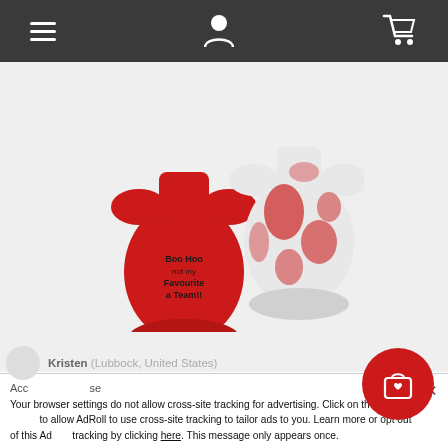Navigation bar with menu, profile, and cart icons
[Figure (photo): Two red infant onesies - one with text 'Boo Hoo not my Favorite a Team!!' and one tie-dye patterned, displayed on a light gray background]
Arena Texas Tech Red Raiders "Two Bits" 2 Pack INFANT Onesie Set
$32.99
CHOOSE OPTIONS
Kristen (Lubbock, United States)
Your browser settings do not allow cross-site tracking for advertising. Click on the link below to allow AdRoll to use cross-site tracking to tailor ads to you. Learn more or opt out of this AdRoll tracking by clicking here. This message only appears once.